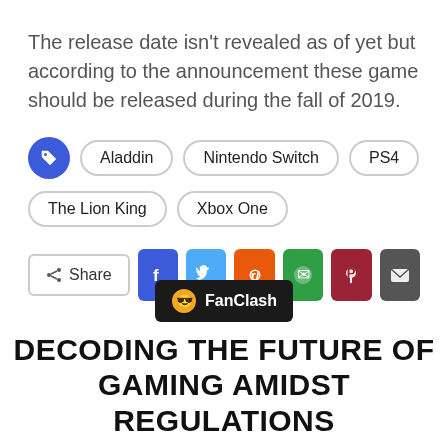The release date isn't revealed as of yet but according to the announcement these game should be released during the fall of 2019.
Tags: Aladdin, Nintendo Switch, PS4, The Lion King, Xbox One
Share buttons: Facebook, Twitter, Reddit, WhatsApp, Pinterest, Email
[Figure (logo): FanClash logo badge on dark background]
DECODING THE FUTURE OF GAMING AMIDST REGULATIONS